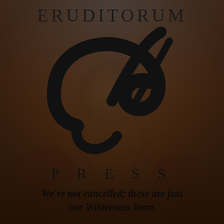[Figure (logo): Eruditorum Press logo page with stylized 'EP' calligraphic monogram over a classical painting of a crouching figure, with dark atmospheric overlay]
ERUDITORUM
PRESS
We're not cancelled; these are just our Wilderness Years